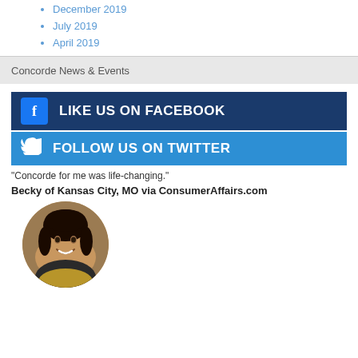Winter 2021
December 2019
July 2019
April 2019
Concorde News & Events
[Figure (infographic): Facebook and Twitter social media follow buttons. Dark navy background with Facebook icon and text 'LIKE US ON FACEBOOK', blue background with Twitter bird icon and text 'FOLLOW US ON TWITTER'.]
“Concorde for me was life-changing.”
Becky of Kansas City, MO via ConsumerAffairs.com
[Figure (photo): Circular portrait photo of a smiling Black woman with braided hair, wearing a dark and gold top.]